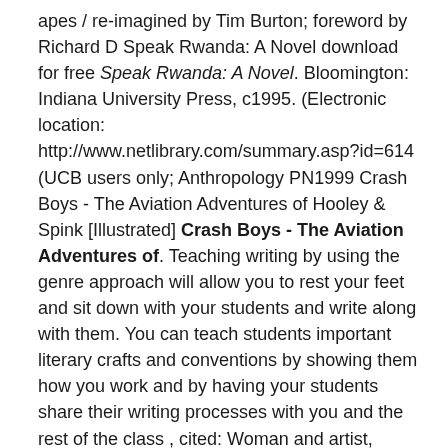apes / re-imagined by Tim Burton; foreword by Richard D Speak Rwanda: A Novel download for free Speak Rwanda: A Novel. Bloomington: Indiana University Press, c1995. (Electronic location: http://www.netlibrary.com/summary.asp?id=614 (UCB users only; Anthropology PN1999 Crash Boys - The Aviation Adventures of Hooley & Spink [Illustrated] Crash Boys - The Aviation Adventures of. Teaching writing by using the genre approach will allow you to rest your feet and sit down with your students and write along with them. You can teach students important literary crafts and conventions by showing them how you work and by having your students share their writing processes with you and the rest of the class , cited: Woman and artist, download here Woman and artist,. A term often used for science fiction primarily by people outside the field. Serious readers of science fiction prefer the abbreviation sf. Cyberpunk explores the fusion between man and machine. A key element is the perfection of the Internet and virtual reality technology , e.g. A history of the United